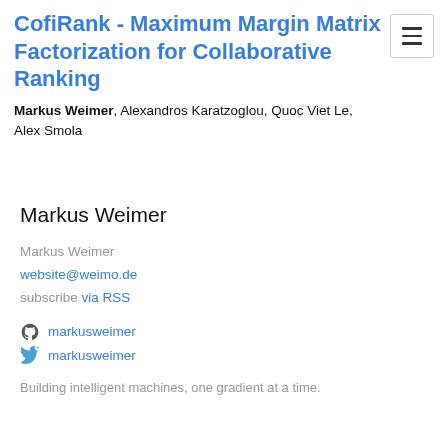CofiRank - Maximum Margin Matrix Factorization for Collaborative Ranking
Markus Weimer, Alexandros Karatzoglou, Quoc Viet Le, Alex Smola
Markus Weimer
Markus Weimer
website@weimo.de
subscribe via RSS
markusweimer
markusweimer
Building intelligent machines, one gradient at a time.